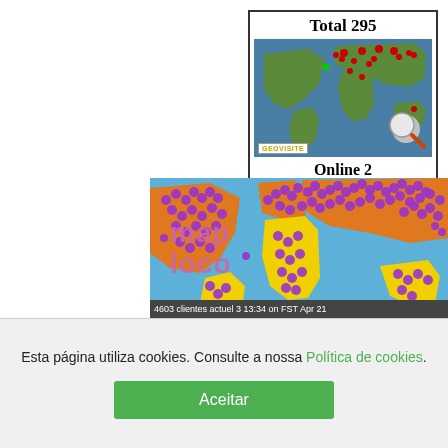[Figure (map): Geovisite visitor map widget showing world map with red location dots and Total 295 / Online 2 stats]
[Figure (map): Map Loco world visitor map showing orange continents with purple flower location markers on blue ocean background]
Esta página utiliza cookies. Consulte a nossa Política de cookies.
Aceitar